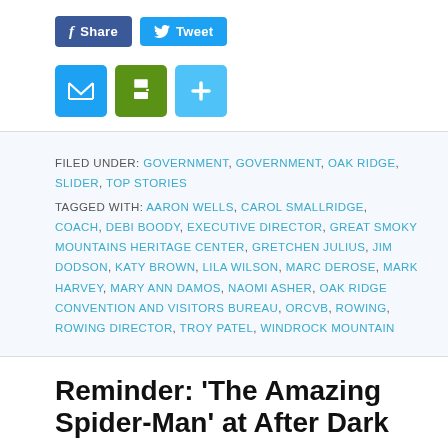[Figure (infographic): Social share buttons: Facebook Share button (dark blue) and Twitter Tweet button (light blue), followed by email (blue), print (green), and add/plus (light blue) icon buttons]
FILED UNDER: GOVERNMENT, GOVERNMENT, OAK RIDGE, SLIDER, TOP STORIES
TAGGED WITH: AARON WELLS, CAROL SMALLRIDGE, COACH, DEBI BOODY, EXECUTIVE DIRECTOR, GREAT SMOKY MOUNTAINS HERITAGE CENTER, GRETCHEN JULIUS, JIM DODSON, KATY BROWN, LILA WILSON, MARC DEROSE, MARK HARVEY, MARY ANN DAMOS, NAOMI ASHER, OAK RIDGE CONVENTION AND VISITORS BUREAU, ORCVB, ROWING, ROWING DIRECTOR, TROY PATEL, WINDROCK MOUNTAIN
Reminder: ‘The Amazing Spider-Man’ at After Dark